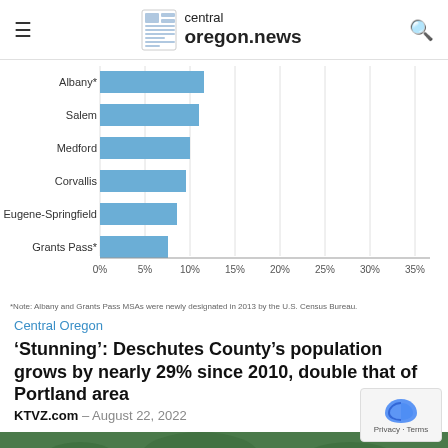central oregon.news
[Figure (bar-chart): Oregon MSA population growth since 2010]
*Note: Albany and Grants Pass MSAs were newly designated in 2013 by the U.S. Census Bureau.
Central Oregon
‘Stunning’: Deschutes County’s population grows by nearly 29% since 2010, double that of Portland area
KTVZ.com – August 22, 2022
[Figure (photo): Outdoor scene with people at a summer event]